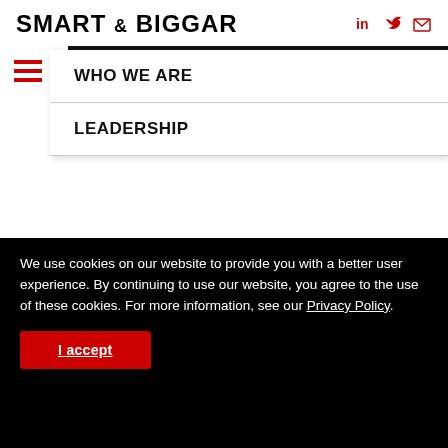SMART & BIGGAR
EN | FR   LOCATIONS
WHO WE ARE
LEADERSHIP
We use cookies on our website to provide you with a better user experience. By continuing to use our website, you agree to the use of these cookies. For more information, see our Privacy Policy.
I accept